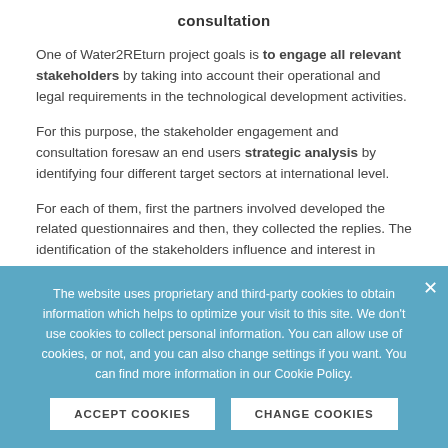consultation
One of Water2REturn project goals is to engage all relevant stakeholders by taking into account their operational and legal requirements in the technological development activities.
For this purpose, the stakeholder engagement and consultation foresaw an end users strategic analysis by identifying four different target sectors at international level.
For each of them, first the partners involved developed the related questionnaires and then, they collected the replies. The identification of the stakeholders influence and interest in cooperation within project, as well as identification of challenges and opportunities was carried out by designing a matrix with four sections:
The website uses proprietary and third-party cookies to obtain information which helps to optimize your visit to this site. We don’t use cookies to collect personal information. You can allow use of cookies, or not, and you can also change settings if you want. You can find more information in our Cookie Policy.